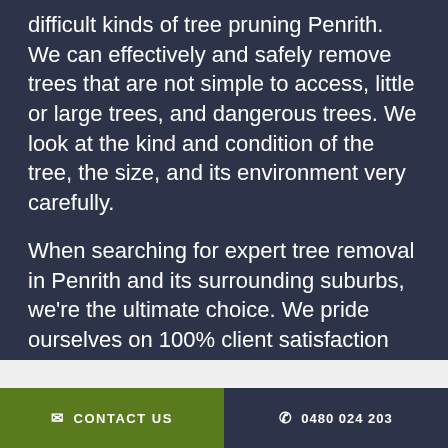difficult kinds of tree pruning Penrith. We can effectively and safely remove trees that are not simple to access, little or large trees, and dangerous trees. We look at the kind and condition of the tree, the size, and its environment very carefully.

When searching for expert tree removal in Penrith and its surrounding suburbs, we're the ultimate choice. We pride ourselves on 100% client satisfaction thanks to our highly trained personnel and comprehensive techniques.
Request a Quote
✉ CONTACT US     ✆ 0480 024 203